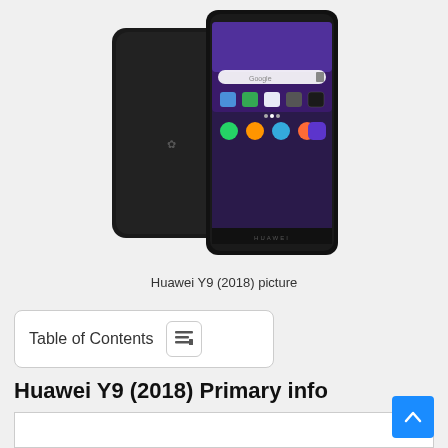[Figure (photo): Huawei Y9 (2018) smartphone shown from front and back, black color, with Android home screen visible]
Huawei Y9 (2018) picture
Table of Contents
Huawei Y9 (2018) Primary info
|  |  |
| --- | --- |
| brand | Huawei |
| Mobile Name | Huawei Y9 (2018) |
| Price in Bangladesh | 21000 BDT (Approx) |